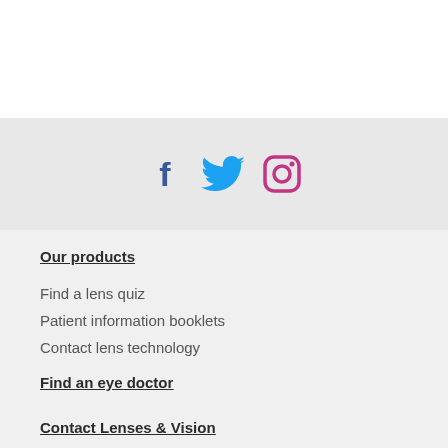[Figure (illustration): Social media icons: Facebook (blue f), Twitter (blue bird), Instagram (purple/pink camera outline)]
Our products
Find a lens quiz
Patient information booklets
Contact lens technology
Find an eye doctor
Contact Lenses & Vision
New wearer
Experienced wearer